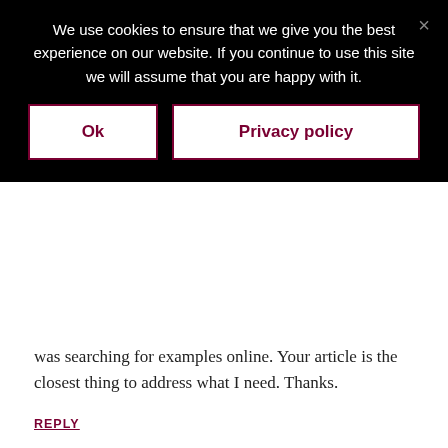We use cookies to ensure that we give you the best experience on our website. If you continue to use this site we will assume that you are happy with it.
Ok
Privacy policy
was searching for examples online. Your article is the closest thing to address what I need. Thanks.
REPLY
KATE TILTON says
DECEMBER 15, 2020 AT 12:21 AM
I'm so glad this article was able to help!
On the copyright page I usually do a short list of folks like:
Cover design by person